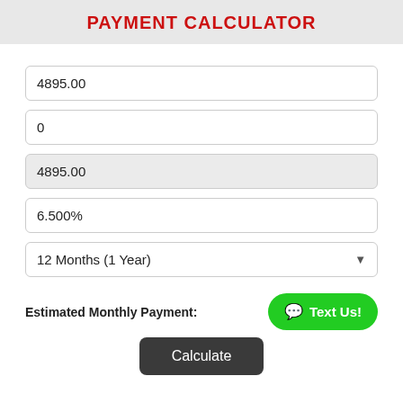PAYMENT CALCULATOR
4895.00
0
4895.00
6.500%
12 Months (1 Year)
Estimated Monthly Payment:
Text Us!
Calculate